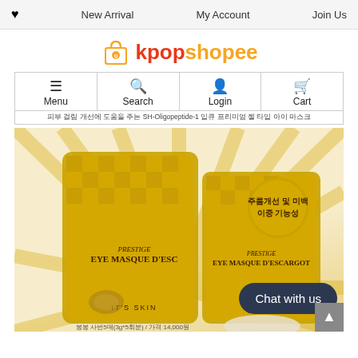♥  New Arrival  My Account  Join Us
[Figure (logo): kpopshopee logo with shopping bag icon, 'kpop' in red/orange and 'shopee' in orange]
Menu  Search  Login  Cart
피부 걸림 개선에 도움을 주는 SH-Oligopeptide-1 입큐 프리미엄 젤 타입 아이 마스크
[Figure (photo): It's Skin Prestige Eye Masque D'Escargot product — gold packaging box and single sachet with snail imagery, Korean text badge '주름개선 및 미백 이중 기능성', bottom text '봉봉 사번5매(3g*5회분)/가격 14,000원']
Chat with us